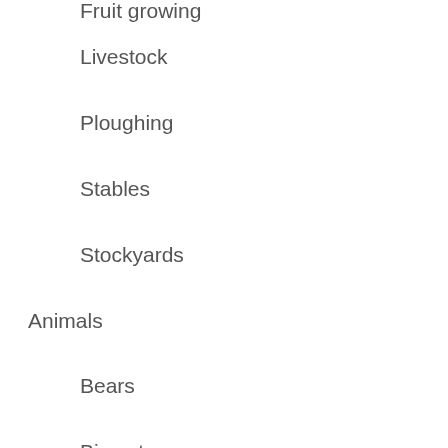Fruit growing
Livestock
Ploughing
Stables
Stockyards
Animals
Bears
Big cats
Birds
Swans
Camels
Cattle
Bull fighting
Ox-drawn transport
Working oxen
Dogs
Donkeys